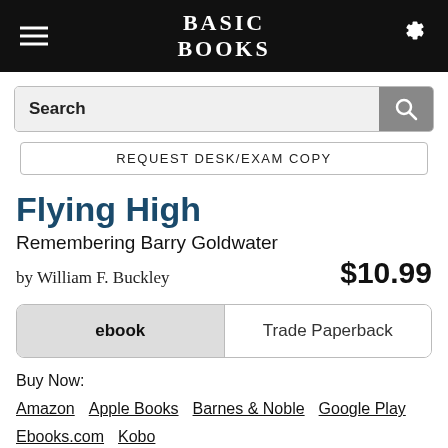BASIC BOOKS
Search
REQUEST DESK/EXAM COPY
Flying High
Remembering Barry Goldwater
by William F. Buckley
$10.99
ebook   Trade Paperback
Buy Now:
Amazon  Apple Books  Barnes & Noble  Google Play  Ebooks.com  Kobo